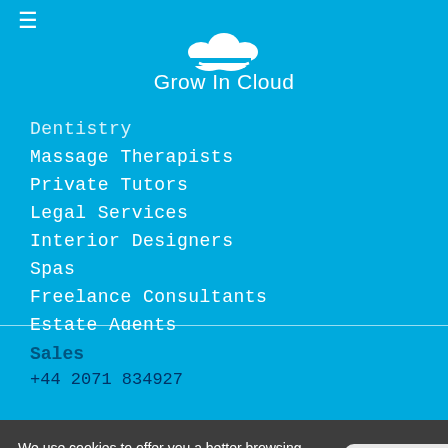[Figure (logo): Grow In Cloud logo with cloud icon and text]
Dentistry
Massage Therapists
Private Tutors
Legal Services
Interior Designers
Spas
Freelance Consultants
Estate Agents
Personal Trainers
Photographers
Sales
+44 2071 834927
We use cookies to offer you a better browsing experience, analyse site traffic and personalize content. Read about how we use cookies in our Privacy Policy